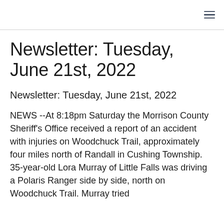≡
Newsletter: Tuesday, June 21st, 2022
Newsletter: Tuesday, June 21st, 2022
NEWS --At 8:18pm Saturday the Morrison County Sheriff's Office received a report of an accident with injuries on Woodchuck Trail, approximately four miles north of Randall in Cushing Township. 35-year-old Lora Murray of Little Falls was driving a Polaris Ranger side by side, north on Woodchuck Trail. Murray tried